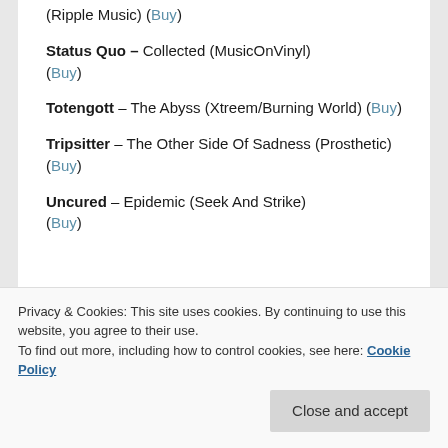(Ripple Music) (Buy)
Status Quo – Collected (MusicOnVinyl) (Buy)
Totengott – The Abyss (Xtreem/Burning World) (Buy)
Tripsitter – The Other Side Of Sadness (Prosthetic) (Buy)
Uncured – Epidemic (Seek And Strike) (Buy)
Privacy & Cookies: This site uses cookies. By continuing to use this website, you agree to their use. To find out more, including how to control cookies, see here: Cookie Policy
Various Artists – A Tribute to Death